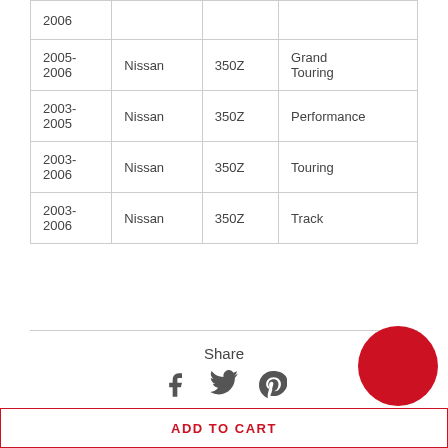| Year | Make | Model | Trim |
| --- | --- | --- | --- |
| 2006 |  |  |  |
| 2005-2006 | Nissan | 350Z | Grand Touring |
| 2003-2005 | Nissan | 350Z | Performance |
| 2003-2006 | Nissan | 350Z | Touring |
| 2003-2006 | Nissan | 350Z | Track |
Share
[Figure (other): Social share icons: Facebook, Twitter, Pinterest]
ADD TO CART